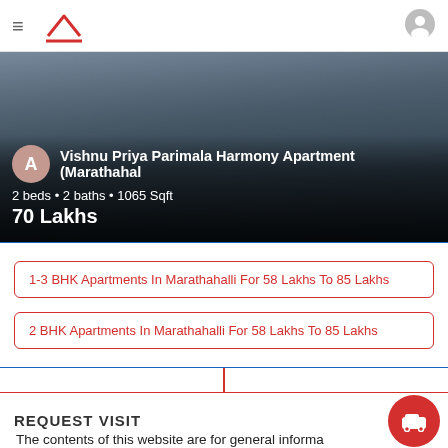Navigation bar with hamburger menu, house logo, and user icon
[Figure (screenshot): Property listing card showing apartment interior photo with overlay: avatar 'A', property name 'Vishnu Priya Parimala Harmony Apartment (Marathahal', 2 beds • 2 baths • 1065 Sqft, 70 Lakhs]
1-3 BHK Apartments In Marathahalli For 58 Lakhs To 85 Lakhs
2 BHK Apartments In Marathahalli For 58 Lakhs To 85 Lakhs
Disclaimer
The contents of this website are for general information purposes only. While we verify the details with the